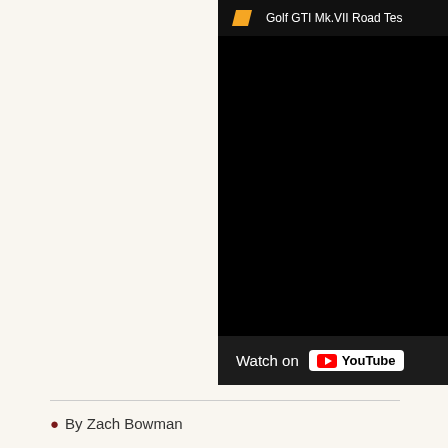[Figure (screenshot): A YouTube video embed showing 'Golf GTI Mk.VII Road Test' with a black video area and a 'Watch on YouTube' button at the bottom.]
By Zach Bowman